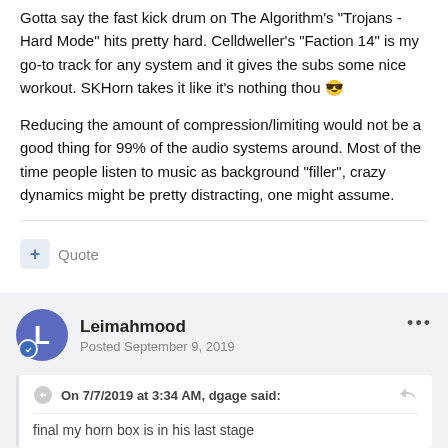Gotta say the fast kick drum on The Algorithm's "Trojans - Hard Mode" hits pretty hard. Celldweller's "Faction 14" is my go-to track for any system and it gives the subs some nice workout. SKHorn takes it like it's nothing thou 😎
Reducing the amount of compression/limiting would not be a good thing for 99% of the audio systems around. Most of the time people listen to music as background "filler", crazy dynamics might be pretty distracting, one might assume.
+ Quote
Leimahmood
Posted September 9, 2019
On 7/7/2019 at 3:34 AM, dgage said:
final my horn box is in his last stage